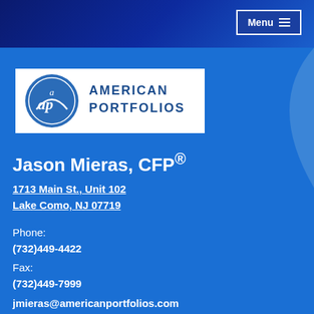[Figure (logo): American Portfolios logo with blue circle containing 'ap' letters and text 'AMERICAN PORTFOLIOS' in dark blue on white background]
Jason Mieras, CFP®
1713 Main St., Unit 102
Lake Como, NJ 07719
Phone:
(732)449-4422
Fax:
(732)449-7999
jmieras@americanportfolios.com